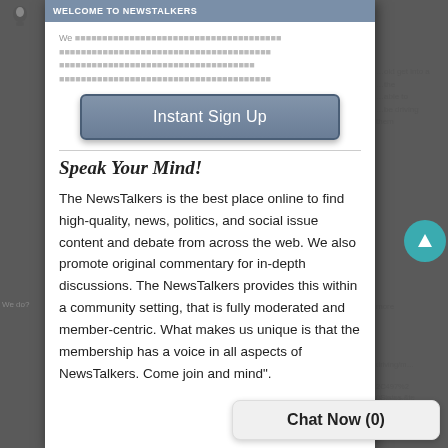[Figure (screenshot): Modal dialog overlay on a web page (NewsTalkers). Shows an 'Instant Sign Up' button, a 'Speak Your Mind!' heading, descriptive text about NewsTalkers, and a 'Chat Now (0)' button in the bottom right.]
Instant Sign Up
Speak Your Mind!
The NewsTalkers is the best place online to find high-quality, news, politics, and social issue content and debate from across the web. We also promote original commentary for in-depth discussions. The NewsTalkers provides this within a community setting, that is fully moderated and member-centric. What makes us unique is that the membership has a voice in all aspects of NewsTalkers. Come join and mind".
Chat Now (0)